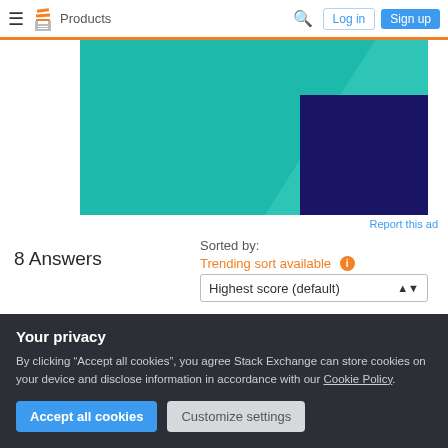≡ [StackOverflow logo] Products 🔍 Log in Sign up
[Figure (illustration): Stack Overflow advertisement banner with teal and dark navy geometric shapes]
Report this ad
Sorted by:
8 Answers
Trending sort available ℹ
Highest score (default)
The easiest way to make HTTP requests in Rust is
Your privacy
By clicking "Accept all cookies", you agree Stack Exchange can store cookies on your device and disclose information in accordance with our Cookie Policy.
Accept all cookies
Customize settings
println!("{:#?}", resp);